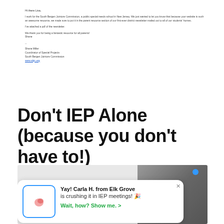Hi there Lisa,
I work for the South Bergen Jointure Commission, a public special needs school in New Jersey. We just wanted to let you know that because your website is such an awesome resource, we made sure to put it in the parent resource section of our first-ever district newsletter mailed out to all of our students' homes.
I've attached a pdf of the newsletter.
We thank you for being a fantastic resource for all parents!
Shane
--
Shane Miller
Coordinator of Special Projects
South Bergen Jointure Commission
www.sbjc.org
Don't IEP Alone (because you don't have to!)
[Figure (screenshot): Notification card over a gray strip image area with a photo of a person on the right. Card reads: Yay! Carla H. from Elk Grove is crushing it in IEP meetings! Wait, how? Show me. with a green arrow. Icon shows a pink shape in a blue-bordered box.]